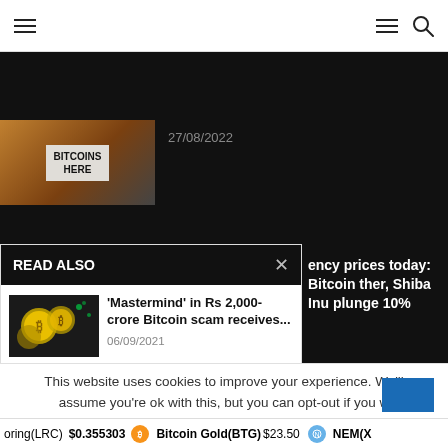Navigation bar with hamburger menu and search icon
27/08/2022
READ ALSO
ency prices today: Bitcoin ther, Shiba Inu plunge 10%
[Figure (photo): Bitcoin coins image for 'Mastermind' in Rs 2,000-crore Bitcoin scam receives article]
'Mastermind' in Rs 2,000-crore Bitcoin scam receives...
06/09/2021
[Figure (logo): Finextra logo - blue background with white text]
Cryptocurrency theft on the rise
02/03/2021
ld You Run Your Own Node?
This website uses cookies to improve your experience. We'll assume you're ok with this, but you can opt-out if you w
oring(LRC) $0.355303   Bitcoin Gold(BTG) $23.50   NEM(X